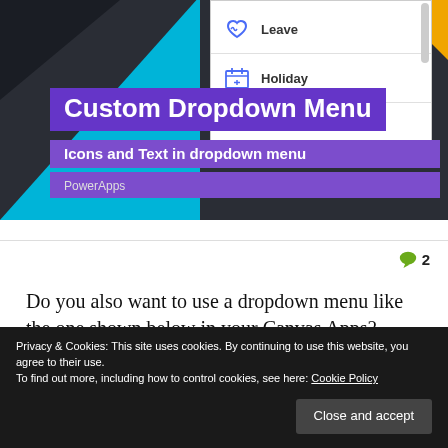[Figure (screenshot): Hero banner with dark background, cyan accent triangle, custom dropdown menu title and subtitle overlays, PowerApps tag, and a white dropdown preview showing Leave and Holiday items with icons.]
2
Do you also want to use a dropdown menu like the one shown below in your Canvas Apps?
Privacy & Cookies: This site uses cookies. By continuing to use this website, you agree to their use.
To find out more, including how to control cookies, see here: Cookie Policy
Close and accept